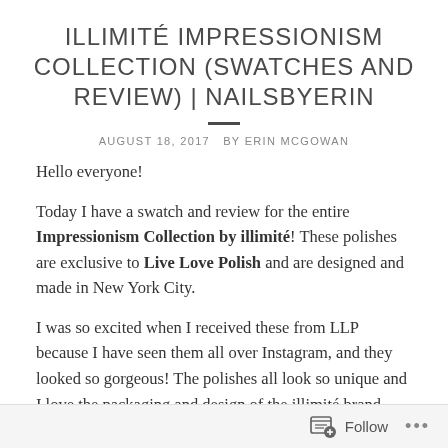ILLIMITÉ IMPRESSIONISM COLLECTION (SWATCHES AND REVIEW) | NAILSBYERIN
AUGUST 18, 2017  BY ERIN MCGOWAN
Hello everyone!
Today I have a swatch and review for the entire Impressionism Collection by illimité! These polishes are exclusive to Live Love Polish and are designed and made in New York City.
I was so excited when I received these from LLP because I have seen them all over Instagram, and they looked so gorgeous! The polishes all look so unique and I love the packaging and design of the illimité brand. The bottles come in little white boxes made by the
Follow ...